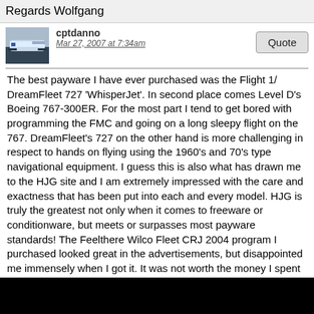Regards Wolfgang
[Figure (photo): Avatar image of an airplane (cptdanno user)]
cptdanno
Mar 27, 2007 at 7:34am
The best payware I have ever purchased was the Flight 1/ DreamFleet 727 'WhisperJet'. In second place comes Level D's Boeing 767-300ER. For the most part I tend to get bored with programming the FMC and going on a long sleepy flight on the 767. DreamFleet's 727 on the other hand is more challenging in respect to hands on flying using the 1960's and 70's type navigational equipment. I guess this is also what has drawn me to the HJG site and I am extremely impressed with the care and exactness that has been put into each and every model. HJG is truly the greatest not only when it comes to freeware or conditionware, but meets or surpasses most payware standards! The Feelthere Wilco Fleet CRJ 2004 program I purchased looked great in the advertisements, but disappointed me immensely when I got it. It was not worth the money I spent for it. That's for sure. Thanks you HJG for your great work.
[Figure (photo): Avatar image of an airplane (George Carty - HJG user)]
George Carty - HJG
TriStar
★★★★★
Aug 9, 2007 at 6:39pm